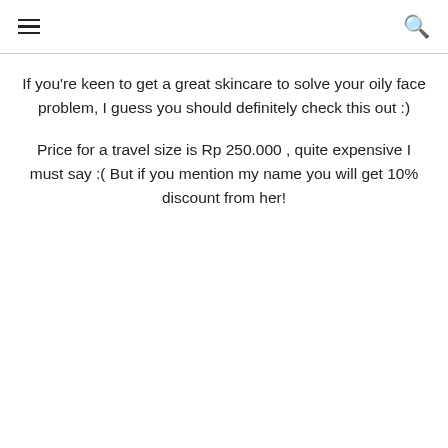☰  🔍
If you're keen to get a great skincare to solve your oily face problem, I guess you should definitely check this out :)
Price for a travel size is Rp 250.000 , quite expensive I must say :( But if you mention my name you will get 10% discount from her!